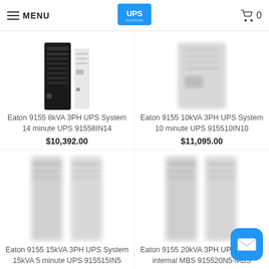MENU | UPS Solutions | Cart 0
[Figure (photo): Eaton 9155 8kVA 3PH UPS System – black tower unit and white module side by side]
Eaton 9155 8kVA 3PH UPS System 14 minute UPS 91558IN14
$10,392.00
[Figure (photo): Eaton 9155 10kVA 3PH UPS System – blurred white unit]
Eaton 9155 10kVA 3PH UPS System 10 minute UPS 915510IN10
$11,095.00
[Figure (photo): Eaton 9155 15kVA 3PH UPS System – blurred white tall units]
Eaton 9155 15kVA 3PH UPS System 15kVA 5 minute UPS 915515IN5
[Figure (photo): Eaton 9155 20kVA 3PH UPS System – blurred white tall units]
Eaton 9155 20kVA 3PH UPS System internal MBS 915520N5-MBS